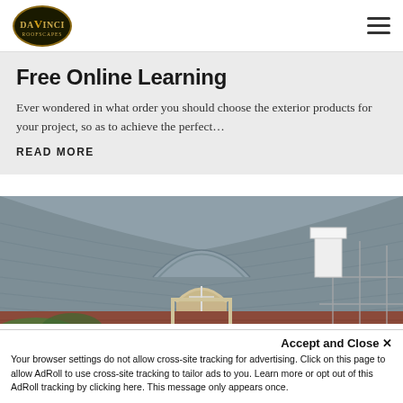DaVinci [logo] / hamburger menu
Free Online Learning
Ever wondered in what order you should choose the exterior products for your project, so as to achieve the perfect…
READ MORE
[Figure (photo): Close-up photo of a curved, thatched-style residential roofline with grey slate-look shingles, a dormer window with arched stonework, and brick walls below. Scaffolding is visible on the right side.]
Accept and Close ✕
Your browser settings do not allow cross-site tracking for advertising. Click on this page to allow AdRoll to use cross-site tracking to tailor ads to you. Learn more or opt out of this AdRoll tracking by clicking here. This message only appears once.